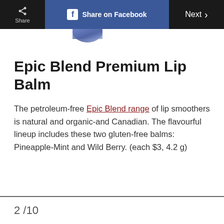Share | Share on Facebook | Next
[Figure (photo): Partial view of a product (lip balm packaging) at the top of the page]
Epic Blend Premium Lip Balm
The petroleum-free Epic Blend range of lip smoothers is natural and organic-and Canadian. The flavourful lineup includes these two gluten-free balms: Pineapple-Mint and Wild Berry. (each $3, 4.2 g)
2 /10